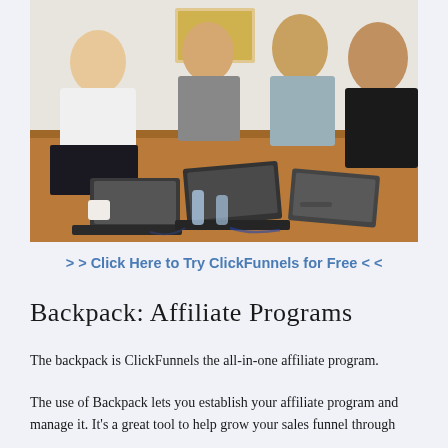[Figure (photo): Group of people working together around a wooden table with multiple laptops open, in what appears to be a collaborative work or meeting setting.]
> > Click Here to Try ClickFunnels for Free < <
Backpack: Affiliate Programs
The backpack is ClickFunnels the all-in-one affiliate program.
The use of Backpack lets you establish your affiliate program and manage it. It's a great tool to help grow your sales funnel through